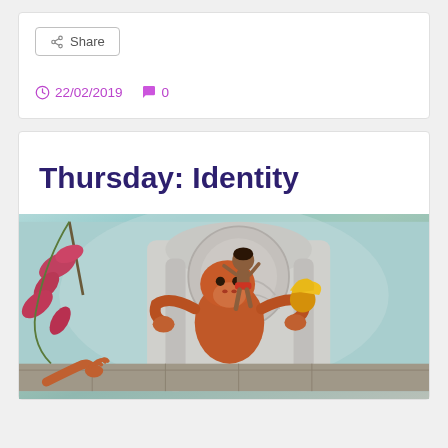Share
22/02/2019   0
Thursday: Identity
[Figure (illustration): Animated illustration from The Jungle Book showing characters in a jungle temple setting. A brown ape figure holds a small boy character with blonde hair accents, in front of ornate stone carvings. Pink/red foliage visible on the left side.]